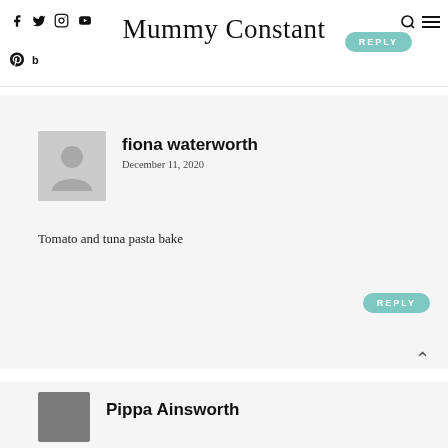Mummy Constant — site header with social icons
fiona waterworth
December 11, 2020
Tomato and tuna pasta bake
Pippa Ainsworth